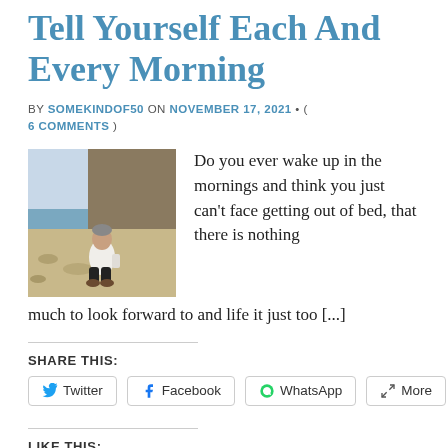Tell Yourself Each And Every Morning
BY SOMEKINDOF50 ON NOVEMBER 17, 2021 • ( 6 COMMENTS )
[Figure (photo): Person sitting on a beach with cliffs and greenery in the background]
Do you ever wake up in the mornings and think you just can't face getting out of bed, that there is nothing much to look forward to and life it just too [...]
SHARE THIS:
Twitter
Facebook
WhatsApp
More
LIKE THIS: